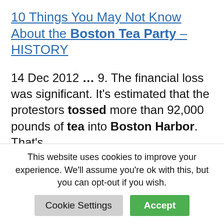10 Things You May Not Know About the Boston Tea Party – HISTORY
14 Dec 2012 … 9. The financial loss was significant. It's estimated that the protestors tossed more than 92,000 pounds of tea into Boston Harbor. That's …
Boston Tea Party Damage
340 chests of British East India
This website uses cookies to improve your experience. We'll assume you're ok with this, but you can opt-out if you wish.   Cookie Settings   Accept